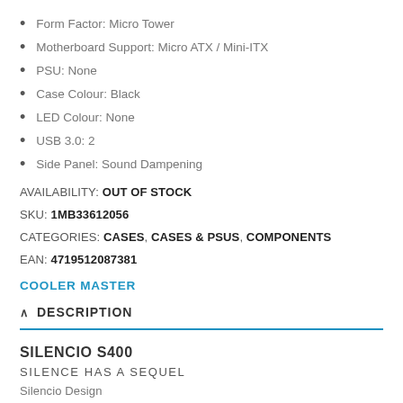Form Factor: Micro Tower
Motherboard Support: Micro ATX / Mini-ITX
PSU: None
Case Colour: Black
LED Colour: None
USB 3.0: 2
Side Panel: Sound Dampening
AVAILABILITY: OUT OF STOCK
SKU: 1MB33612056
CATEGORIES: CASES, CASES & PSUS, COMPONENTS
EAN: 4719512087381
COOLER MASTER
DESCRIPTION
SILENCIO S400
SILENCE HAS A SEQUEL
Silencio Design